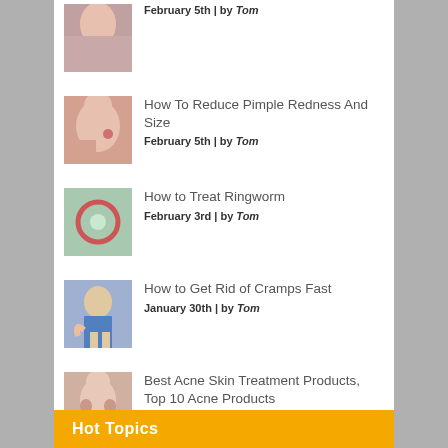[Figure (photo): Thumbnail photo of face with pimple, partial view at top]
February 5th | by Tom
[Figure (photo): Thumbnail photo of person touching face with pimple]
How To Reduce Pimple Redness And Size
February 5th | by Tom
[Figure (photo): Thumbnail photo showing ringworm on skin]
How to Treat Ringworm
February 3rd | by Tom
[Figure (photo): Thumbnail photo of person with leg cramps]
How to Get Rid of Cramps Fast
January 30th | by Tom
[Figure (photo): Thumbnail photo of woman touching face, acne product]
Best Acne Skin Treatment Products, Top 10 Acne Products
January 30th | by Tom
Hot Topics